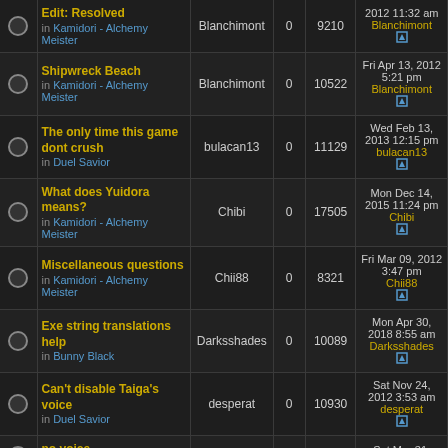|  | Topic | Author | Replies | Views | Last Post |
| --- | --- | --- | --- | --- | --- |
|  | Edit: Resolved
in Kamidori - Alchemy Meister | Blanchimont | 0 | 9210 | 2012 11:32 am
Blanchimont |
|  | Shipwreck Beach
in Kamidori - Alchemy Meister | Blanchimont | 0 | 10522 | Fri Apr 13, 2012 5:21 pm
Blanchimont |
|  | The only time this game dont crush
in Duel Savior | bulacan13 | 0 | 11129 | Wed Feb 13, 2013 12:15 pm
bulacan13 |
|  | What does Yuidora means?
in Kamidori - Alchemy Meister | Chibi | 0 | 17505 | Mon Dec 14, 2015 11:24 pm
Chibi |
|  | Miscellaneous questions
in Kamidori - Alchemy Meister | Chii88 | 0 | 8321 | Fri Mar 09, 2012 3:47 pm
Chii88 |
|  | Exe string translations help
in Bunny Black | Darksshades | 0 | 10089 | Mon Apr 30, 2018 8:55 am
Darksshades |
|  | Can't disable Taiga's voice
in Duel Savior | desperat | 0 | 10930 | Sat Nov 24, 2012 3:53 am
desperat |
|  | no voice
in Kamidori - | dhitman | 0 | 7646 | Sat Mar 31, 2012 11:40 pm |